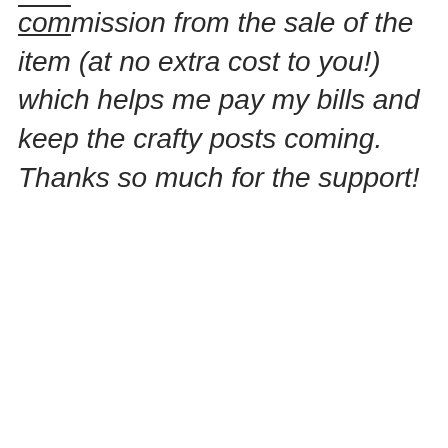commission from the sale of the item (at no extra cost to you!) which helps me pay my bills and keep the crafty posts coming. Thanks so much for the support!